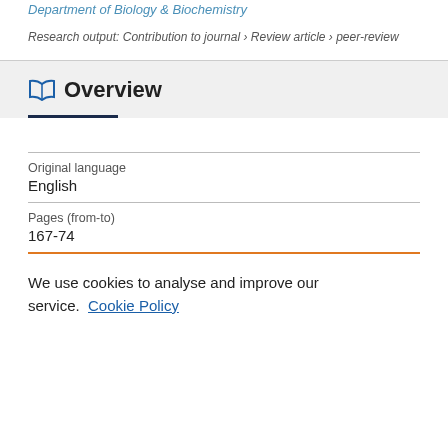Department of Biology & Biochemistry
Research output: Contribution to journal › Review article › peer-review
Overview
Original language
English
Pages (from-to)
167-74
We use cookies to analyse and improve our service. Cookie Policy